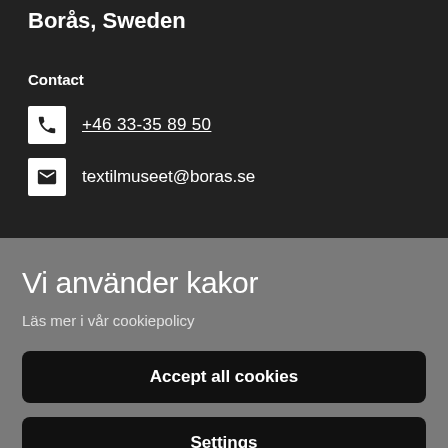Borås, Sweden
Contact
+46 33-35 89 50
textilmuseet@boras.se
Vi använder kakor
Läs mer i vår cookiepolicy
Accept all cookies
Settings